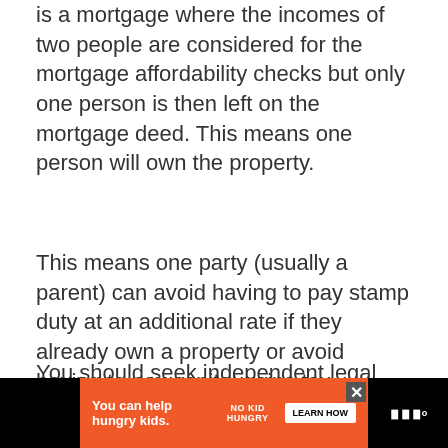is a mortgage where the incomes of two people are considered for the mortgage affordability checks but only one person is then left on the mortgage deed. This means one person will own the property.
This means one party (usually a parent) can avoid having to pay stamp duty at an additional rate if they already own a property or avoid having to pay capital gains tax somewhere down the line.
You should seek independent legal advice before taking out a joint borrower sole pr...
[Figure (other): Advertisement banner: orange background with text 'You can help hungry kids.' with No Kid Hungry logo and LEARN HOW button. Black borders on left and right sides.]